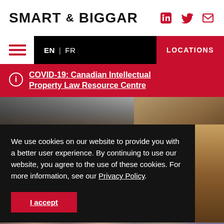SMART & BIGGAR
EN | FR   LOCATIONS
COVID-19: Canadian Intellectual Property Law Resource Centre
[Figure (screenshot): Hero image showing bookshelves in background]
We use cookies on our website to provide you with a better user experience. By continuing to use our website, you agree to the use of these cookies. For more information, see our Privacy Policy.
I accept
[Figure (photo): Bottom strip showing people faces]